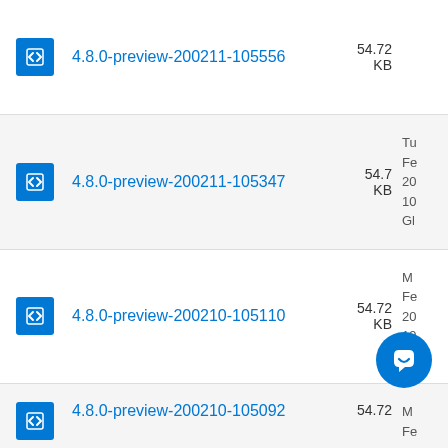4.8.0-preview-200211-105556 54.72 KB
4.8.0-preview-200211-105347 54.7 KB
4.8.0-preview-200210-105110 54.72 KB
4.8.0-preview-200210-105092 54.72